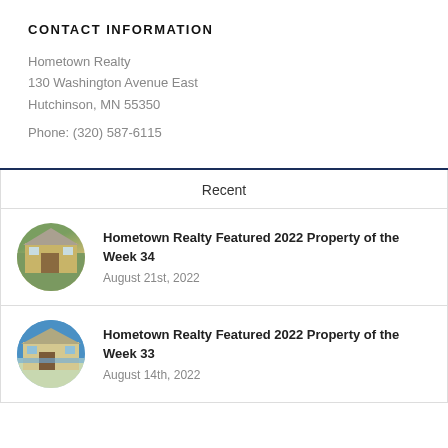CONTACT INFORMATION
Hometown Realty
130 Washington Avenue East
Hutchinson, MN 55350
Phone: (320) 587-6115
Recent
Hometown Realty Featured 2022 Property of the Week 34
August 21st, 2022
Hometown Realty Featured 2022 Property of the Week 33
August 14th, 2022